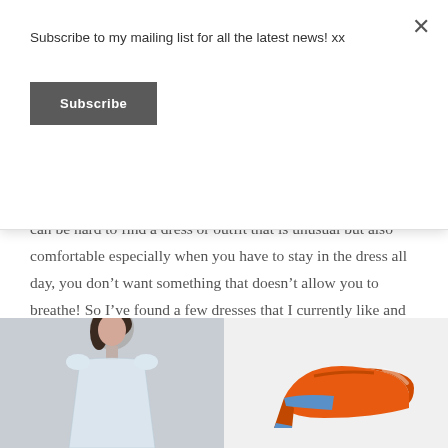Subscribe to my mailing list for all the latest news! xx
Subscribe
can be hard to find a dress or outfit that is unusual but also comfortable especially when you have to stay in the dress all day, you don’t want something that doesn’t allow you to breathe! So I’ve found a few dresses that I currently like and put together a few options for some inspiration. As usual all the links are attached!
[Figure (photo): Photo of a woman wearing a white lace high-neck dress against a light grey background]
[Figure (photo): Photo of an orange and blue high-heel shoe against a white background]